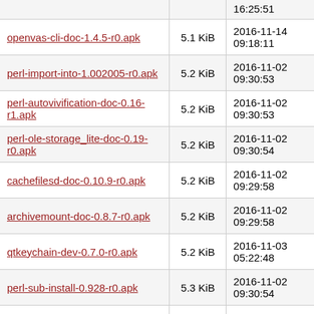| Name | Size | Date |
| --- | --- | --- |
| (partial) ...r0.apk |  | 16:25:51 |
| openvas-cli-doc-1.4.5-r0.apk | 5.1 KiB | 2016-11-14 09:18:11 |
| perl-import-into-1.002005-r0.apk | 5.2 KiB | 2016-11-02 09:30:53 |
| perl-autovivification-doc-0.16-r1.apk | 5.2 KiB | 2016-11-02 09:30:53 |
| perl-ole-storage_lite-doc-0.19-r0.apk | 5.2 KiB | 2016-11-02 09:30:54 |
| cachefilesd-doc-0.10.9-r0.apk | 5.2 KiB | 2016-11-02 09:29:58 |
| archivemount-doc-0.8.7-r0.apk | 5.2 KiB | 2016-11-02 09:29:58 |
| qtkeychain-dev-0.7.0-r0.apk | 5.2 KiB | 2016-11-03 05:22:48 |
| perl-sub-install-0.928-r0.apk | 5.3 KiB | 2016-11-02 09:30:54 |
| xkill-1.0.4-r0.apk | 5.3 KiB | 2016-11-02 09:31:08 |
| mate-screensaver-doc-1.14.1-r0.apk | 5.3 KiB | 2016-11-02 09:30:42 |
| google-authenticator-doc-20160000-r1.apk (partial) | 5.3 KiB | 2016-11-02 09:30:06 |